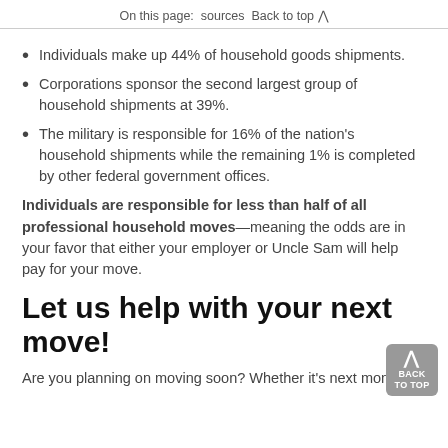On this page:   sources   Back to top  ∧
Individuals make up 44% of household goods shipments.
Corporations sponsor the second largest group of household shipments at 39%.
The military is responsible for 16% of the nation's household shipments while the remaining 1% is completed by other federal government offices.
Individuals are responsible for less than half of all professional household moves—meaning the odds are in your favor that either your employer or Uncle Sam will help pay for your move.
Let us help with your next move!
Are you planning on moving soon? Whether it's next month